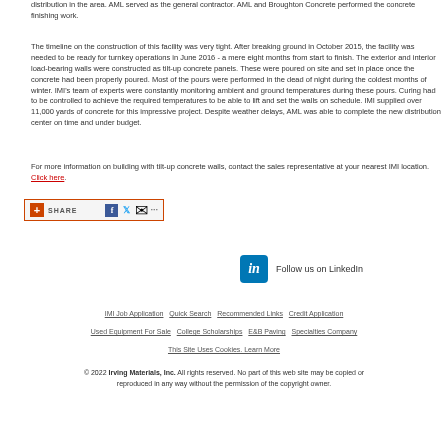distribution in the area. AML served as the general contractor. AML and Broughton Concrete performed the concrete finishing work.
The timeline on the construction of this facility was very tight. After breaking ground in October 2015, the facility was needed to be ready for turnkey operations in June 2016 - a mere eight months from start to finish. The exterior and interior load-bearing walls were constructed as tilt-up concrete panels. These were poured on site and set in place once the concrete had been properly poured. Most of the pours were performed in the dead of night during the coldest months of winter. IMI's team of experts were constantly monitoring ambient and ground temperatures during these pours. Curing had to be controlled to achieve the required temperatures to be able to lift and set the walls on schedule. IMI supplied over 11,000 yards of concrete for this impressive project. Despite weather delays, AML was able to complete the new distribution center on time and under budget.
For more information on building with tilt-up concrete walls, contact the sales representative at your nearest IMI location. Click here.
[Figure (screenshot): AddToAny share button with Facebook, Twitter, email icons]
[Figure (logo): LinkedIn logo with text: Follow us on LinkedIn]
IMI Job Application   Quick Search   Recommended Links   Credit Application
Used Equipment For Sale   College Scholarships   E&B Paving   Specialties Company
This Site Uses Cookies. Learn More
© 2022 Irving Materials, Inc. All rights reserved. No part of this web site may be copied or reproduced in any way without the permission of the copyright owner.